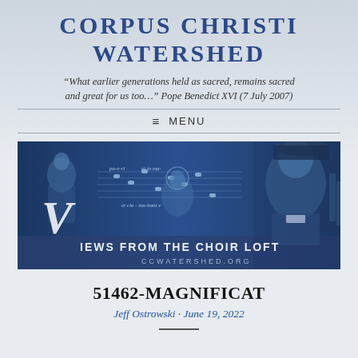CORPUS CHRISTI WATERSHED
“What earlier generations held as sacred, remains sacred and great for us too…” Pope Benedict XVI (7 July 2007)
≡ MENU
[Figure (illustration): Views from the Choir Loft banner image featuring a cleric portrait, musical notation, religious imagery, and text 'VIEWS FROM THE CHOIR LOFT - CCWATERSHED.ORG']
51462-MAGNIFICAT
Jeff Ostrowski · June 19, 2022